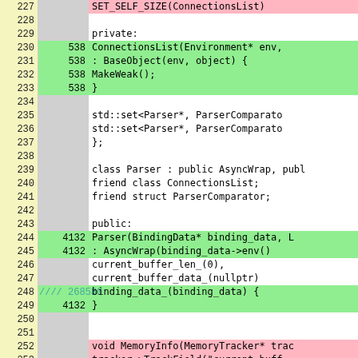[Figure (screenshot): Code coverage viewer showing C++ source code lines 227-253. Three columns: line number (yellow background), execution count (gray background), and source code. Green-highlighted rows indicate covered lines, pink rows indicate uncovered lines, white/gray rows have no coverage data. The code shows a ConnectionsList and Parser class implementation.]